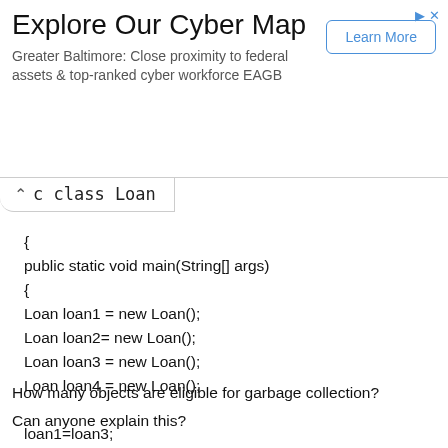[Figure (screenshot): Advertisement banner for 'Explore Our Cyber Map' with subtitle 'Greater Baltimore: Close proximity to federal assets & top-ranked cyber workforce EAGB' and a 'Learn More' button]
c class Loan
{
public static void main(String[] args)
{
Loan loan1 = new Loan();
Loan loan2= new Loan();
Loan loan3 = new Loan();
Loan loan4 = new Loan();

loan1=loan3;
loan2=loan4;

loan3 = null
}
}
How many objects are eligible for garbage collection?
Can anyone explain this?